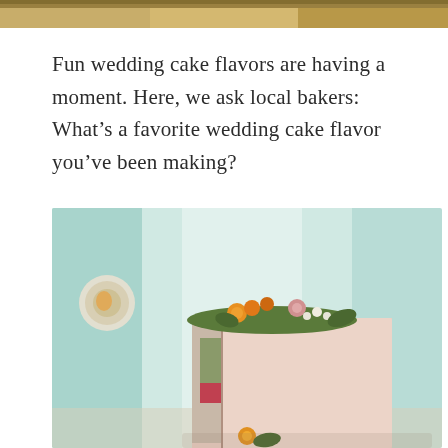[Figure (photo): Top decorative strip with warm golden/brown tones, appears to be a cropped photo strip at the very top of the page]
Fun wedding cake flavors are having a moment. Here, we ask local bakers: What’s a favorite wedding cake flavor you’ve been making?
[Figure (photo): A square wedding cake with pink fondant exterior, decorated on top with orange, green, and pink floral frosting decorations. The cake is sliced to reveal a green/matcha interior with red berry filling. Background is a light mint/teal color. A small decorative plate is visible on the left wall.]